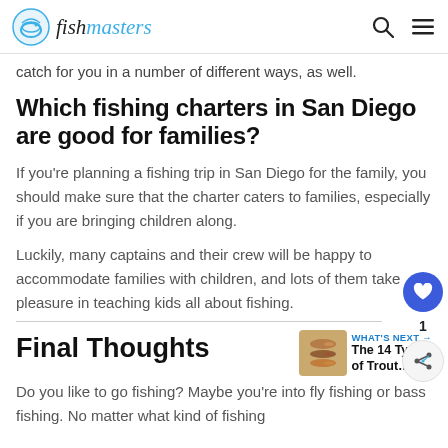fishmasters
catch for you in a number of different ways, as well.
Which fishing charters in San Diego are good for families?
If you're planning a fishing trip in San Diego for the family, you should make sure that the charter caters to families, especially if you are bringing children along.
Luckily, many captains and their crew will be happy to accommodate families with children, and lots of them take pleasure in teaching kids all about fishing.
Final Thoughts
[Figure (illustration): What's Next thumbnail showing The 14 Types of Trout with fish image]
Do you like to go fishing? Maybe you're into fly fishing or bass fishing. No matter what kind of fishing